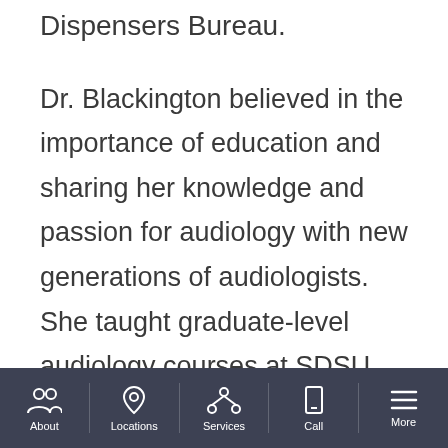Dispensers Bureau.
Dr. Blackington believed in the importance of education and sharing her knowledge and passion for audiology with new generations of audiologists. She taught graduate-level audiology courses at SDSU, was a fellow of the American Academy of Audiology and a member of the Academy of Doctors of Audiology.
Although Blanche will be extremely missed in the San Diego community and beyond, she leaves her legacy in the practice she poured
About | Locations | Services | Call | More